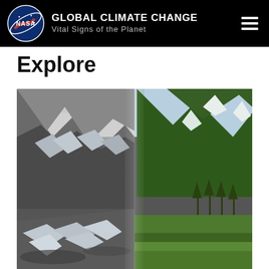NASA GLOBAL CLIMATE CHANGE Vital Signs of the Planet
Explore
[Figure (photo): Split before-and-after photograph comparing a glacier in Alaska in an early black-and-white historical photograph (left side, showing massive glacier ice formations) versus a modern color photograph (right side, showing the same location with the glacier retreated, revealing green mountains and a meadow).]